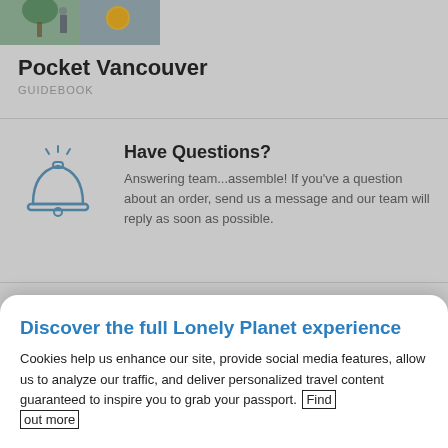[Figure (photo): Partial view of a travel guidebook cover for Pocket Vancouver, showing an outdoor street scene]
Pocket Vancouver
GUIDEBOOK
Have Questions?
Answering team...assemble! If you've a question about an order, send us a message and our team will reply as soon as possible.
Shipping Deals
Not much is free these days. Hugs are. So is a pleasant stroll. Oh – and your shipping to the US for
Discover the full Lonely Planet experience
Cookies help us enhance our site, provide social media features, allow us to analyze our traffic, and deliver personalized travel content guaranteed to inspire you to grab your passport. Find out more